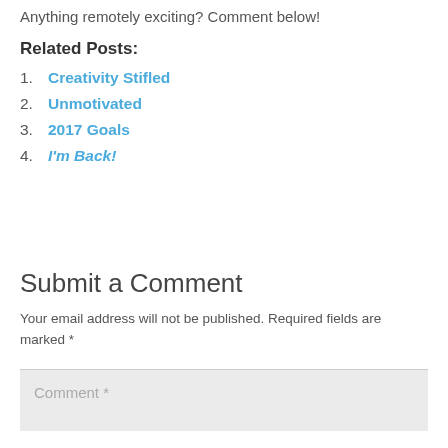Anything remotely exciting? Comment below!
Related Posts:
1. Creativity Stifled
2. Unmotivated
3. 2017 Goals
4. I'm Back!
Submit a Comment
Your email address will not be published. Required fields are marked *
Comment *